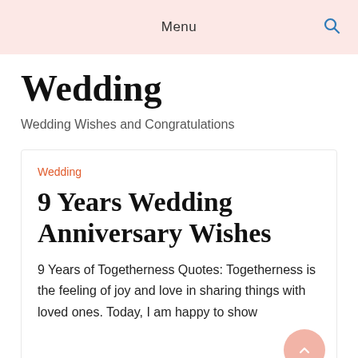Menu
Wedding
Wedding Wishes and Congratulations
Wedding
9 Years Wedding Anniversary Wishes
9 Years of Togetherness Quotes: Togetherness is the feeling of joy and love in sharing things with loved ones. Today, I am happy to show